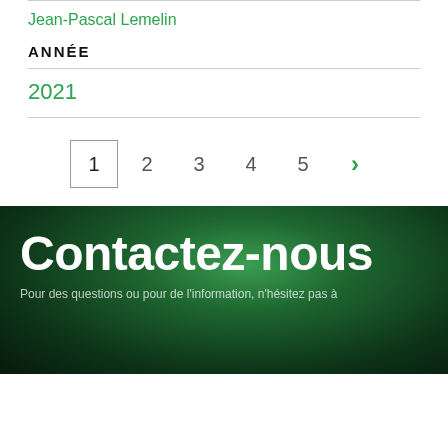Jean-Pascal Lemelin
ANNÉE
2021
[Figure (other): Pagination control showing page numbers 1 (active/selected), 2, 3, 4, 5 and a next arrow (>)]
Contactez-nous
Pour des questions ou pour de l'information, n'hésitez pas à